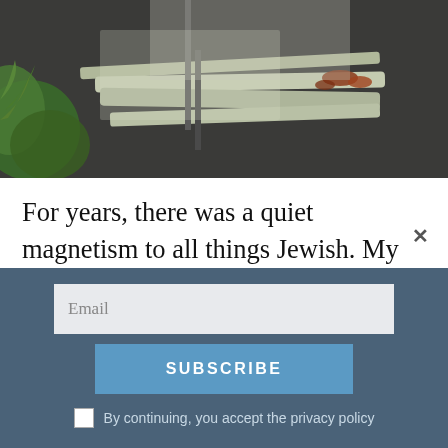[Figure (photo): A photograph showing stacked weathered stone slabs or broken grave markers in a dilapidated Jewish cemetery, with green foliage visible on the left side and dark background.]
For years, there was a quiet magnetism to all things Jewish. My hometown, Katowice, had a dilapidated Jewish cemetery. It was difficult to see behind its walls, but for much of my youth it stood for a link to an identity I didn't
Email
SUBSCRIBE
By continuing, you accept the privacy policy